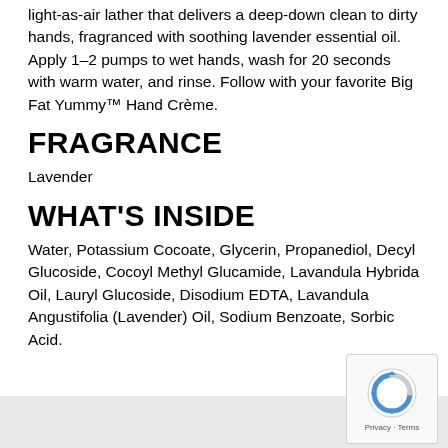light-as-air lather that delivers a deep-down clean to dirty hands, fragranced with soothing lavender essential oil. Apply 1–2 pumps to wet hands, wash for 20 seconds with warm water, and rinse. Follow with your favorite Big Fat Yummy™ Hand Crème.
FRAGRANCE
Lavender
WHAT'S INSIDE
Water, Potassium Cocoate, Glycerin, Propanediol, Decyl Glucoside, Cocoyl Methyl Glucamide, Lavandula Hybrida Oil, Lauryl Glucoside, Disodium EDTA, Lavandula Angustifolia (Lavender) Oil, Sodium Benzoate, Sorbic Acid.
Privacy · Terms